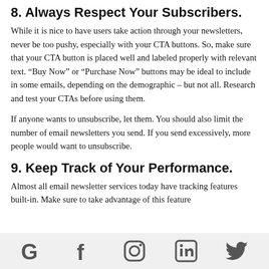8. Always Respect Your Subscribers.
While it is nice to have users take action through your newsletters, never be too pushy, especially with your CTA buttons. So, make sure that your CTA button is placed well and labeled properly with relevant text. “Buy Now” or “Purchase Now” buttons may be ideal to include in some emails, depending on the demographic – but not all. Research and test your CTAs before using them.
If anyone wants to unsubscribe, let them. You should also limit the number of email newsletters you send. If you send excessively, more people would want to unsubscribe.
9. Keep Track of Your Performance.
Almost all email newsletter services today have tracking features built-in. Make sure to take advantage of this feature
Social media icons: Google, Facebook, Instagram, LinkedIn, Twitter